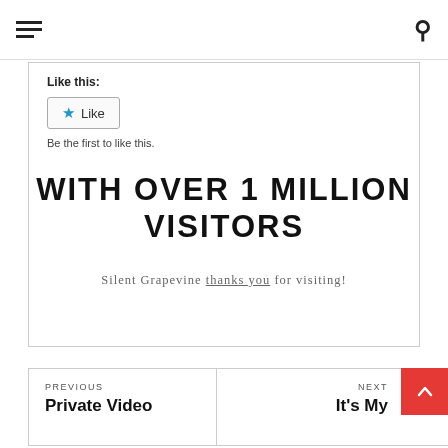Menu / Search
Like this:
Like
Be the first to like this.
WITH OVER 1 MILLION VISITORS
Silent Grapevine thanks you for visiting!
PREVIOUS
Private Video
NEXT
It's My